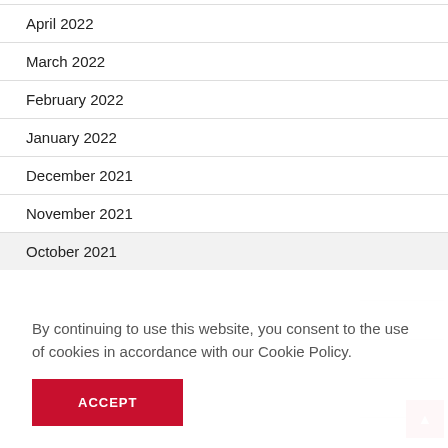April 2022
March 2022
February 2022
January 2022
December 2021
November 2021
October 2021
By continuing to use this website, you consent to the use of cookies in accordance with our Cookie Policy.